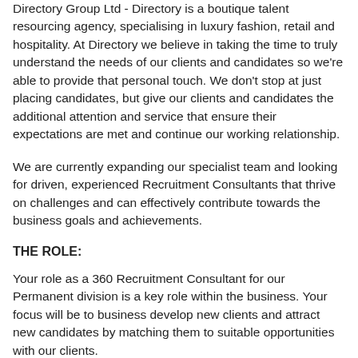Directory Group Ltd - Directory is a boutique talent resourcing agency, specialising in luxury fashion, retail and hospitality. At Directory we believe in taking the time to truly understand the needs of our clients and candidates so we're able to provide that personal touch. We don't stop at just placing candidates, but give our clients and candidates the additional attention and service that ensure their expectations are met and continue our working relationship.
We are currently expanding our specialist team and looking for driven, experienced Recruitment Consultants that thrive on challenges and can effectively contribute towards the business goals and achievements.
THE ROLE:
Your role as a 360 Recruitment Consultant for our Permanent division is a key role within the business. Your focus will be to business develop new clients and attract new candidates by matching them to suitable opportunities with our clients.